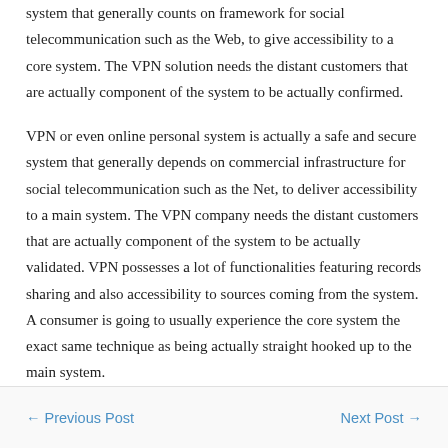system that generally counts on framework for social telecommunication such as the Web, to give accessibility to a core system. The VPN solution needs the distant customers that are actually component of the system to be actually confirmed.
VPN or even online personal system is actually a safe and secure system that generally depends on commercial infrastructure for social telecommunication such as the Net, to deliver accessibility to a main system. The VPN company needs the distant customers that are actually component of the system to be actually validated. VPN possesses a lot of functionalities featuring records sharing and also accessibility to sources coming from the system. A consumer is going to usually experience the core system the exact same technique as being actually straight hooked up to the main system.
← Previous Post    Next Post →